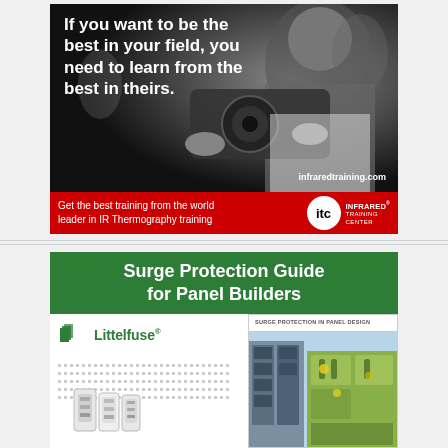[Figure (advertisement): ITC Infrared Training Center ad with black and white photo of man examining infrared camera. Headline: 'If you want to be the best in your field, you need to learn from the best in theirs.' URL: infraredtraining.com. Red bar at bottom: 'Get the best training from the world leader in IR Thermography training' with ITC logo.]
[Figure (advertisement): Littelfuse Surge Protection Guide for Panel Builders ad. Green header bar with white bold text. Left side shows Littelfuse logo and dots pattern with product image. Right side shows 'Surge Protection in Panel Design' brochure cover with industrial panel photo.]